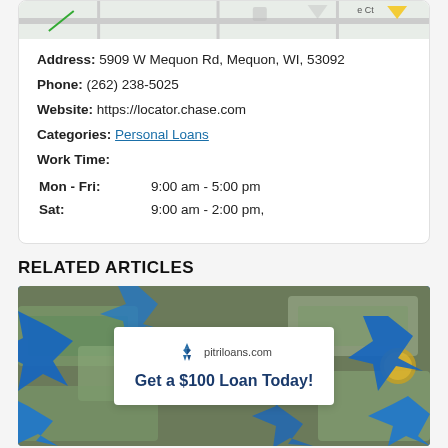[Figure (map): Partial map view strip at top of card showing street map with colored markers]
Address: 5909 W Mequon Rd, Mequon, WI, 53092
Phone: (262) 238-5025
Website: https://locator.chase.com
Categories: Personal Loans
Work Time:
Mon - Fri:  9:00 am - 5:00 pm
Sat:  9:00 am - 2:00 pm,
RELATED ARTICLES
[Figure (photo): Advertisement image showing money/cash in background with blue star burst shapes and a white card overlay with pitriloans.com logo and text 'Get a $100 Loan Today!']